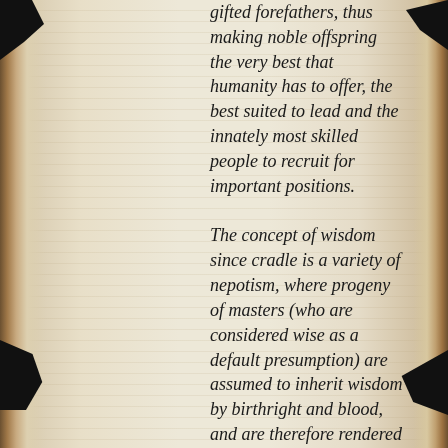gifted forefathers, thus making noble offspring the very best that humanity has to offer, the best suited to lead and the innately most skilled people to recruit for important positions.

The concept of wisdom since cradle is a variety of nepotism, where progeny of masters (who are considered wise as a default presumption) are assumed to inherit wisdom by birthright and blood, and are therefore rendered due reverence. This